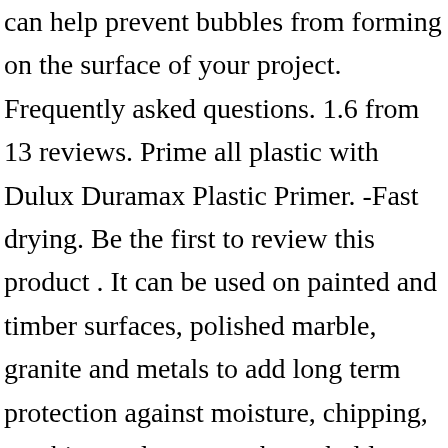can help prevent bubbles from forming on the surface of your project. Frequently asked questions. 1.6 from 13 reviews. Prime all plastic with Dulux Duramax Plastic Primer. -Fast drying. Be the first to review this product . It can be used on painted and timber surfaces, polished marble, granite and metals to add long term protection against moisture, chipping, cracking and common household cleaners. Be the first to write a review. Be the first to review this product . It is ideal for refreshing outdoor furniture, garden pots and accessories. AU $38.95 New . 128 Items . Ex Tax: